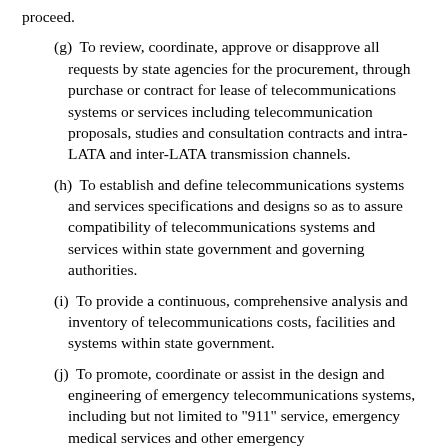proceed.
(g)  To review, coordinate, approve or disapprove all requests by state agencies for the procurement, through purchase or contract for lease of telecommunications systems or services including telecommunication proposals, studies and consultation contracts and intra-LATA and inter-LATA transmission channels.
(h)  To establish and define telecommunications systems and services specifications and designs so as to assure compatibility of telecommunications systems and services within state government and governing authorities.
(i)  To provide a continuous, comprehensive analysis and inventory of telecommunications costs, facilities and systems within state government.
(j)  To promote, coordinate or assist in the design and engineering of emergency telecommunications systems, including but not limited to "911" service, emergency medical services and other emergency telecommunications services.
(k)  To advise and provide consultation to agencies and governing authorities with respect to telecommunications management planning and related matters and to provide training to users within state government in telecommunications.